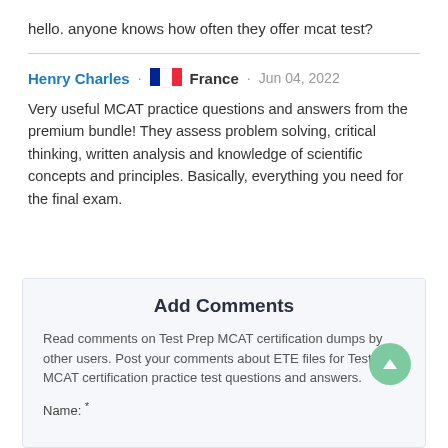hello. anyone knows how often they offer mcat test?
Henry Charles · 🇫🇷 France · Jun 04, 2022
Very useful MCAT practice questions and answers from the premium bundle! They assess problem solving, critical thinking, written analysis and knowledge of scientific concepts and principles. Basically, everything you need for the final exam.
Add Comments
Read comments on Test Prep MCAT certification dumps by other users. Post your comments about ETE files for Test Prep MCAT certification practice test questions and answers.
Name: *